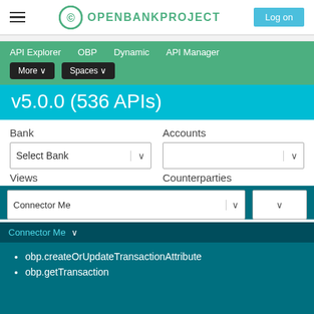OPENBANKPROJECT | Log on
API Explorer   OBP   Dynamic   API Manager   More   Spaces
v5.0.0 (536 APIs)
Bank   Accounts   Select Bank   Views   Counterparties
Connector Me...
obp.createOrUpdateTransactionAttribute
obp.getTransaction